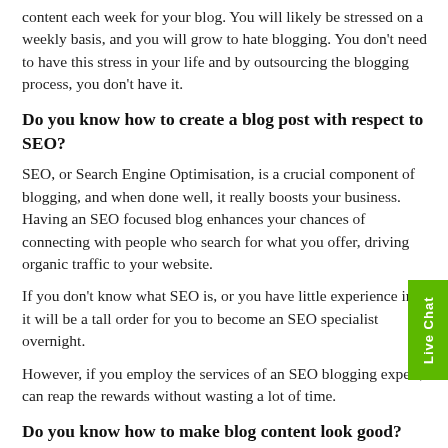content each week for your blog. You will likely be stressed on a weekly basis, and you will grow to hate blogging. You don't need to have this stress in your life and by outsourcing the blogging process, you don't have it.
Do you know how to create a blog post with respect to SEO?
SEO, or Search Engine Optimisation, is a crucial component of blogging, and when done well, it really boosts your business. Having an SEO focused blog enhances your chances of connecting with people who search for what you offer, driving organic traffic to your website.
If you don't know what SEO is, or you have little experience in it, it will be a tall order for you to become an SEO specialist overnight.
However, if you employ the services of an SEO blogging expert, can reap the rewards without wasting a lot of time.
Do you know how to make blog content look good?
It is not enough to have a blog post that is informative and helpful to your audience. You also need to ensure your blog content